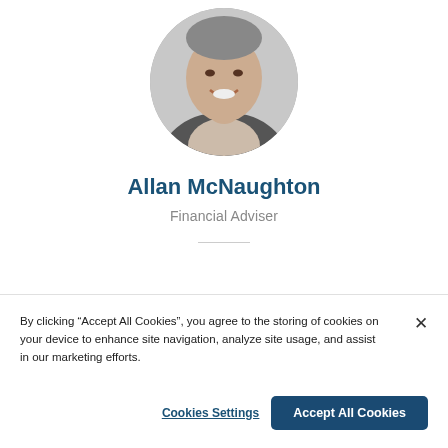[Figure (photo): Circular black-and-white headshot of Allan McNaughton, a smiling middle-aged man in a business jacket]
Allan McNaughton
Financial Adviser
By clicking “Accept All Cookies”, you agree to the storing of cookies on your device to enhance site navigation, analyze site usage, and assist in our marketing efforts.
Cookies Settings
Accept All Cookies